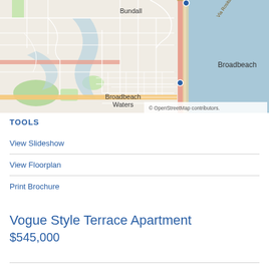[Figure (map): OpenStreetMap showing Bundall, Broadbeach, and Broadbeach Waters areas near the Gold Coast, Australia. Map shows street network with major roads highlighted. Ocean/water visible on the right side. Attribution: © OpenStreetMap contributors.]
TOOLS
View Slideshow
View Floorplan
Print Brochure
Vogue Style Terrace Apartment
$545,000